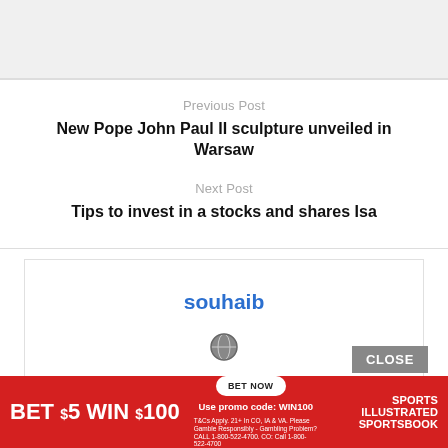[gray bar / image area]
Previous Post
New Pope John Paul II sculpture unveiled in Warsaw
Next Post
Tips to invest in a stocks and shares Isa
souhaib
[Figure (other): Globe/world icon]
CLOSE
BET $5 WIN $100 Use promo code: WIN100 BET NOW SI SPORTSBOOK